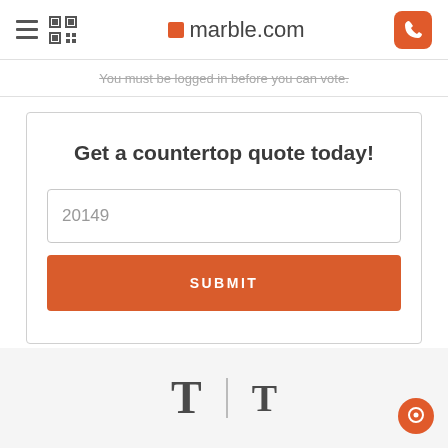marble.com
You must be logged in before you can vote.
Get a countertop quote today!
20149
SUBMIT
[Figure (screenshot): Text size selector toolbar with two T icons and a separator]